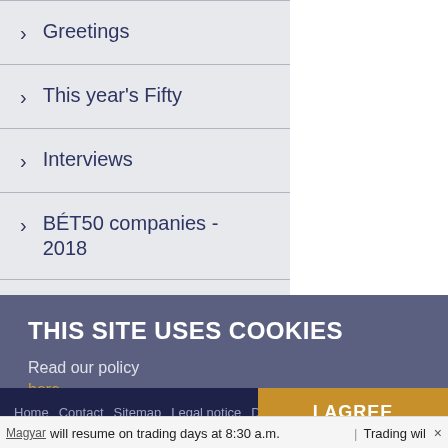> Greetings
> This year's Fifty
> Interviews
> BÉT50 companies - 2018
> BSE SME summit - 2018
THIS SITE USES COOKIES
Read our policy
here
Home  Contact  Sitemap  Legal notice  D
I AGREE
Magyar  will resume on trading days at 8:30 a.m.  |  Trading wil  ×